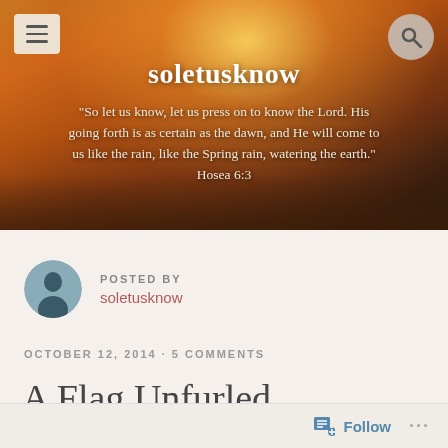[Figure (photo): Hero banner with a sunset road photo, orange warm tones with sun rays, trees silhouetted. Contains site title 'soletusknow' and a Bible quote from Hosea 6:3.]
soletusknow
"So let us know, let us press on to know the Lord. His going forth is as certain as the dawn, and He will come to us like the rain, like the Spring rain, watering the earth." Hosea 6:3
POSTED BY
soletusknow
OCTOBER 12, 2014 · 5 COMMENTS
A Flag Unfurled